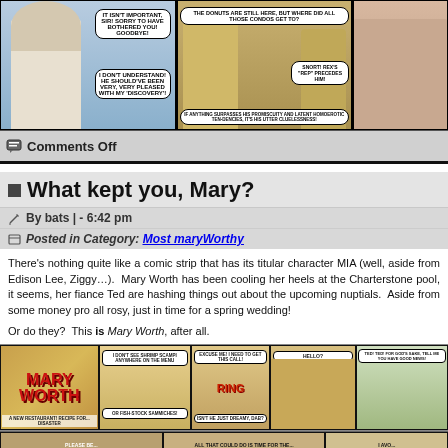[Figure (illustration): Comic strip panel row showing characters: a naval officer saying 'It isn't important, sir! Sorry to have bothered you! Goodbye!', then 'I don't understand! He should've been very, very pleased with my discovery!'; middle panels show an older woman and a young woman with speech bubbles about donuts and condos; right panel shows a woman.]
Comments Off
What kept you, Mary?
By bats | - 6:42 pm
Posted in Category: Most maryWorthy
There's nothing quite like a comic strip that has its titular character MIA (well, aside from Edison Lee, Ziggy…). Mary Worth has been cooling her heels at the Charterstone pool, it seems, her fiance Ted are hashing things out about the upcoming nuptials. Aside from some money pro all rosy, just in time for a spring wedding!
Or do they? This is Mary Worth, after all.
[Figure (illustration): Mary Worth comic strip panels showing the Mary Worth title logo in red, characters including a man on phone saying 'Hello?', speech bubbles saying 'Excuse me! I need to get this call!', 'Isn't he just dreamy, dab?', 'Ted! Ted! For god's sake, tell me you have good news!', caption 'A new restaurant! Recipe for... disaster']
[Figure (illustration): Bottom comic strip row partially visible, showing multiple panels with characters.]